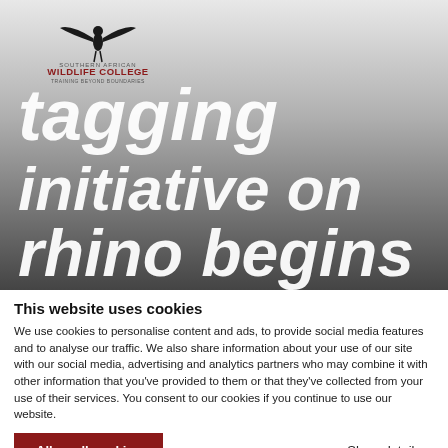[Figure (logo): Southern African Wildlife College logo with bird figure and text: SOUTHERN AFRICAN WILDLIFE COLLEGE, TRAINING BEYOND BOUNDARIES]
[Figure (photo): Large hero image with dark grey gradient background and white bold italic text reading 'tagging initiative on rhino begins']
This website uses cookies
We use cookies to personalise content and ads, to provide social media features and to analyse our traffic. We also share information about your use of our site with our social media, advertising and analytics partners who may combine it with other information that you've provided to them or that they've collected from your use of their services. You consent to our cookies if you continue to use our website.
Allow all cookies
Show details